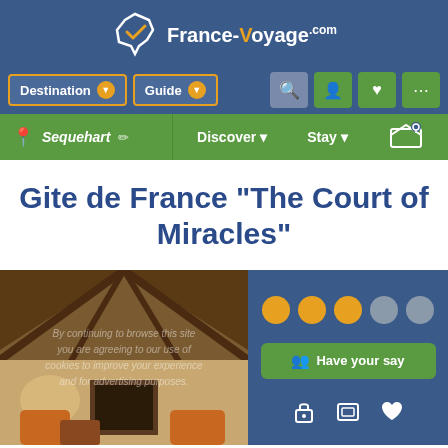[Figure (logo): France-Voyage.com logo with France map outline icon in orange and white, and text 'France-Voyage.com']
[Figure (screenshot): Navigation bar with Destination and Guide dropdown buttons, search icon, user icon, heart icon, share icon]
[Figure (screenshot): Green location bar showing 'Sequehart' with pin icon, edit pencil, Discover dropdown, Stay dropdown, and map icon]
Gite de France "The Court of Miracles"
[Figure (photo): Interior photo of a rustic French gite with exposed wooden beams ceiling, fireplace, armchairs, and warm lighting]
[Figure (infographic): Rating shown as 3 filled orange dots and 2 empty grey dots, Have your say green button, and bottom icons for lock, camera, and heart]